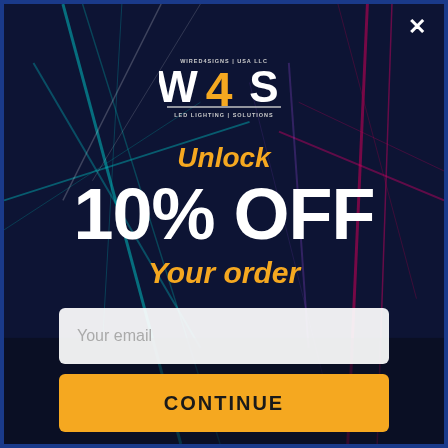[Figure (screenshot): W4S - Wired4Signs USA LLC LED Lighting Solutions logo with stylized W4S lettering in white and orange on dark background]
Unlock
10% OFF
Your order
Your email
CONTINUE